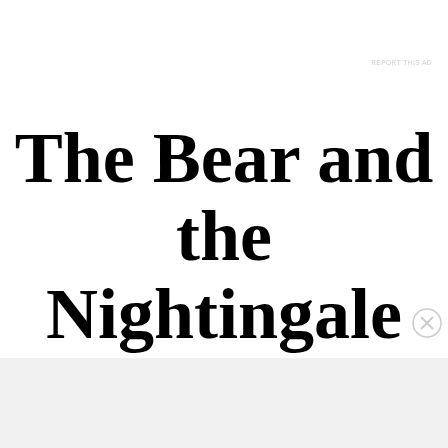REPORT THIS AD
The Bear and the Nightingale (Winternight Trilogy #1) by
Advertisements
REPORT THIS AD